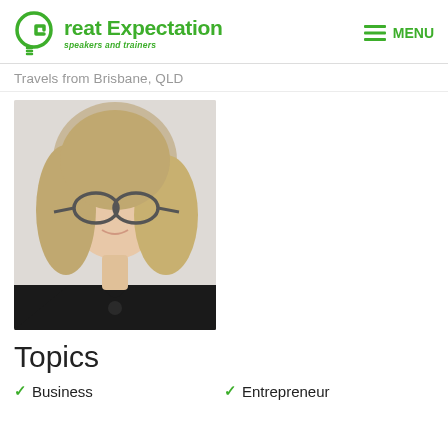Great Expectation speakers and trainers | MENU
Travels from Brisbane, QLD
[Figure (photo): Professional headshot of a woman with blonde hair and glasses wearing a black top, against a light background.]
Topics
Business
Entrepreneur